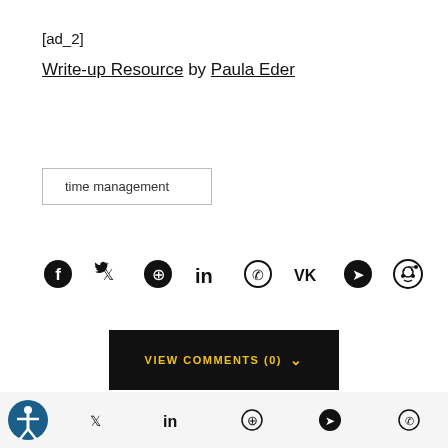[ad_2]
Write-up Resource by Paula Eder
time management
[Figure (other): Social share icons: Facebook, Twitter, Pinterest, LinkedIn, WhatsApp, VK, Telegram, Reddit]
VIEW COMMENTS (0)
Accessibility icon, Twitter, LinkedIn, Pinterest, Telegram, WhatsApp footer social icons